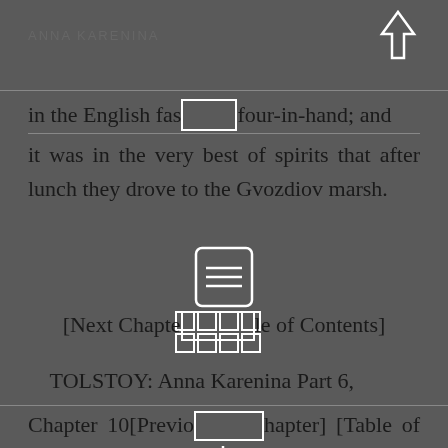ANNA KARENINA
in the English fashion, four-in-hand; and it was in the very best of spirits that after lunch they drove to the Gvozdiov marsh.
[Next Chapter] [Table of Contents]
TOLSTOY: Anna Karenina Part 6, Chapter 10[Previous Chapter] [Table of Contents] Chapter 10 Vassenka drove the horses so fast that they reached the